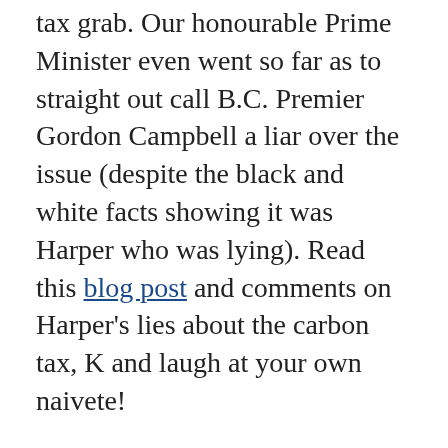tax grab. Our honourable Prime Minister even went so far as to straight out call B.C. Premier Gordon Campbell a liar over the issue (despite the black and white facts showing it was Harper who was lying). Read this blog post and comments on Harper's lies about the carbon tax, K and laugh at your own naivete!
(and yes, I realize you were being sarcastic)
Posted by: Declan | October 25, 2010 at 09:36 PM
I guess my only point is that